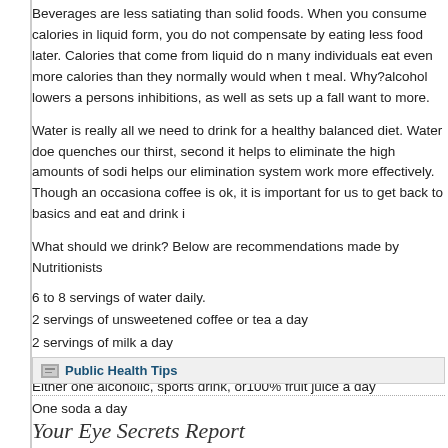Beverages are less satiating than solid foods. When you consume calories in liquid form, you do not compensate by eating less food later. Calories that come from liquid do not register with your body and many individuals eat even more calories than they normally would when they have alcohol with a meal. Why?—alcohol lowers a persons inhibitions, as well as sets up a fall back that makes you want to more.
Water is really all we need to drink for a healthy balanced diet. Water does three things: first it quenches our thirst, second it helps to eliminate the high amounts of sodium in our diets, and third it helps our elimination system work more effectively. Though an occasional cup of unsweetened tea or coffee is ok, it is important for us to get back to basics and eat and drink in a healthy way.
What should we drink? Below are recommendations made by Nutritionists:
6 to 8 servings of water daily.
2 servings of unsweetened coffee or tea a day
2 servings of milk a day
No more than 4 diet drinks a day
Either one alcoholic, sports drink, or100% fruit juice a day
One soda a day
Public Health Tips
Your Eye Secrets Report